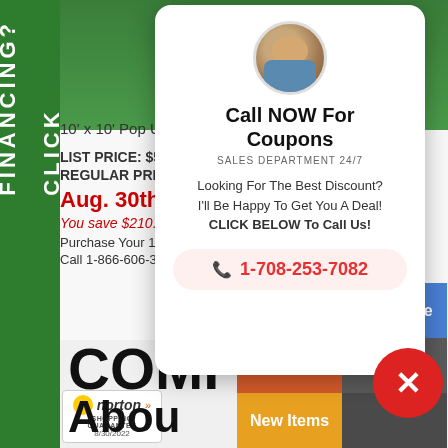FINANCING? CLICK
10' x 10' Pop Up Yellow Pa
LIST PRICE: $569.95
REGULAR PRICE: $449.9
Aug. 30th 9 HR.
You save $210.00!
Purchase Your 10' x 10' Po
Call 1-866-606-3991
[Figure (screenshot): Call NOW For Coupons popup with photo of salesman, phone number 1-708-253-7082]
Call NOW For Coupons
SALES DEPARTMENT 24/7
Looking For The Best Discount?
I'll Be Happy To Get You A Deal!
CLICK BELOW To Call Us!
1-708-253-7082
COMPANY
Abou
Financing?
Make Offe
Locations
Support
New Items
[Figure (logo): Norton Shopping Guarantee badge, dated 8/30/2022]